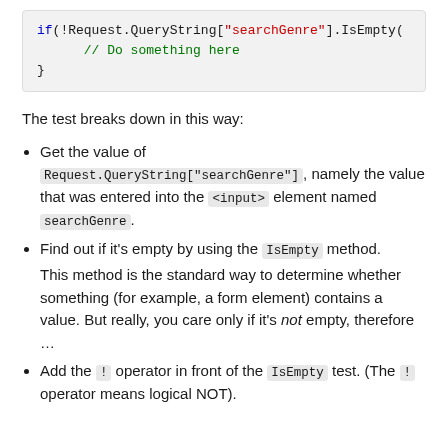[Figure (screenshot): Code block showing: if(!Request.QueryString["searchGenre"].IsEmpty(  // Do something here  }]
The test breaks down in this way:
Get the value of Request.QueryString["searchGenre"], namely the value that was entered into the <input> element named searchGenre.
Find out if it's empty by using the IsEmpty method. This method is the standard way to determine whether something (for example, a form element) contains a value. But really, you care only if it's not empty, therefore …
Add the ! operator in front of the IsEmpty test. (The ! operator means logical NOT).